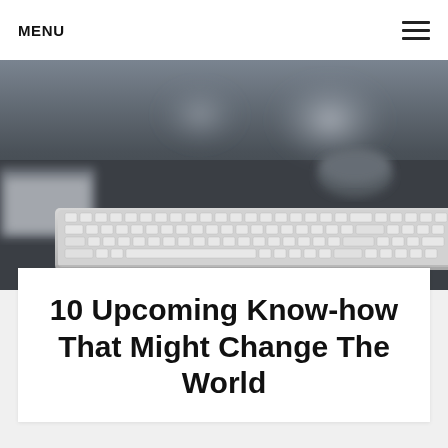MENU
[Figure (photo): Black and white photograph of a computer keyboard on a desk, with a blurred background showing what appears to be a cup or bowl. The keyboard is an Apple-style slim keyboard. The image is in grayscale tones.]
10 Upcoming Know-how That Might Change The World